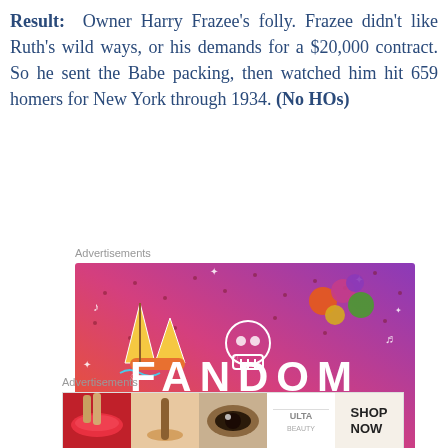Result: Owner Harry Frazee's folly. Frazee didn't like Ruth's wild ways, or his demands for a $20,000 contract. So he sent the Babe packing, then watched him hit 659 homers for New York through 1934. (No HOs)
Advertisements
[Figure (photo): Colorful advertisement banner for Tumblr with text 'FANDOM ON tumblr' on a gradient orange-to-purple background with doodles and stickers including a sailboat, skull, crabs, and leaf characters.]
Advertisements
[Figure (photo): ULTA Beauty advertisement banner showing close-up makeup images with text 'SHOP NOW'.]